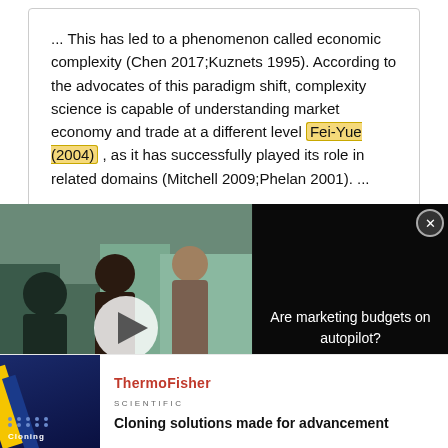... This has led to a phenomenon called economic complexity (Chen 2017;Kuznets 1995). According to the advocates of this paradigm shift, complexity science is capable of understanding market economy and trade at a different level Fei-Yue (2004) , as it has successfully played its role in related domains (Mitchell 2009;Phelan 2001). ...
Finding the Impact of Market Visibility and Monopoly on Wealth Distribution and Poverty Using Computational...
[Figure (screenshot): Video advertisement overlay: thumbnail of people in a meeting room with play button, banner text 'ARE MARKETING ... S ON AUTOPILOT?', and text panel reading 'Are marketing budgets on autopilot?' with close button]
[Figure (screenshot): Thermo Fisher Scientific advertisement with dark blue background image labeled 'Cloning' and tagline 'Cloning solutions made for advancement']